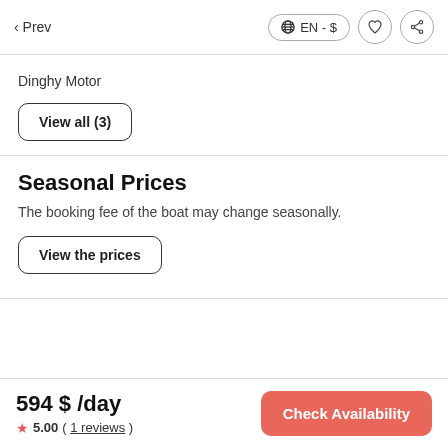< Prev | EN - $ | heart | share
Dinghy Motor
View all (3)
Seasonal Prices
The booking fee of the boat may change seasonally.
View the prices
594 $ /day
★ 5.00 ( 1 reviews )
Check Availability